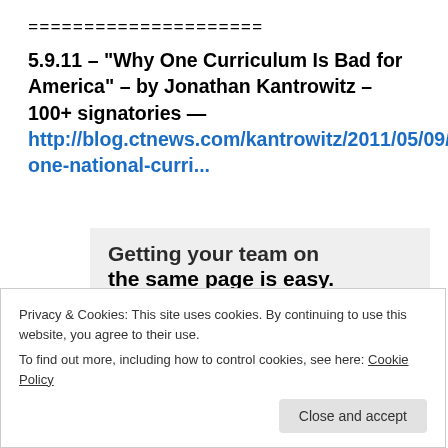=====================
5.9.11 – "Why One Curriculum Is Bad for America" – by Jonathan Kantrowitz – 100+ signatories — http://blog.ctnews.com/kantrowitz/2011/05/09/why-one-national-curri...
[Figure (screenshot): Advertisement banner showing text 'Getting your team on the same page is easy. And free.' with circular avatar photos below]
Privacy & Cookies: This site uses cookies. By continuing to use this website, you agree to their use.
To find out more, including how to control cookies, see here: Cookie Policy